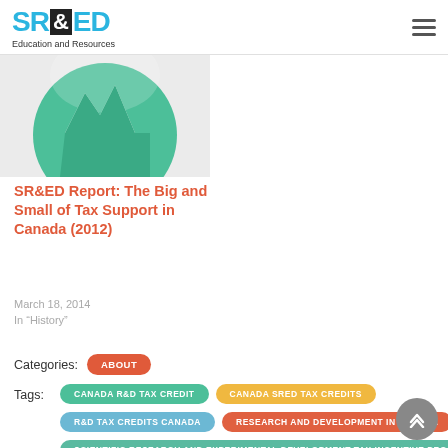SR&ED Education and Resources
[Figure (illustration): Teal/green pie chart slice illustration on light gray background]
SR&ED Report: The Big and Small of Tax Support in Canada (2012)
March 18, 2014
In "History"
Categories:
ABOUT
Tags:
CANADA R&D TAX CREDIT
CANADA SRED TAX CREDITS
R&D TAX CREDITS CANADA
RESEARCH AND DEVELOPMENT IN CANADA
SCIENTIFIC RESEARCH AND EXPERIMENTAL DEVELOPMENT TAX INCENTIVE PROGRAM
SR&ED
SR&ED CANADA
SR&ED CREDIT
SR&ED RYAN LLC